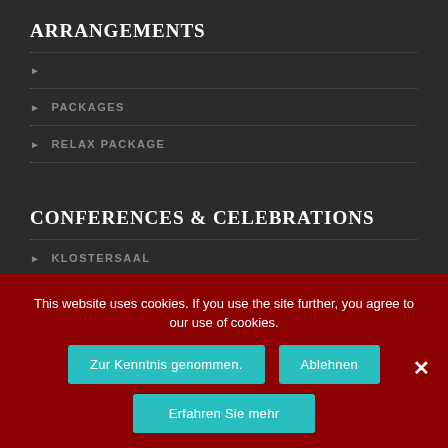ARRANGEMENTS
PACKAGES
RELAX PACKAGE
CONFERENCES & CELEBRATIONS
KLOSTERSAAL
LIBRARY
POSTILLON
This website uses cookies. If you use the site further, you agree to our use of cookies.
Zur Kenntnis genommen.
Ablehnen
Erfahren Sie mehr